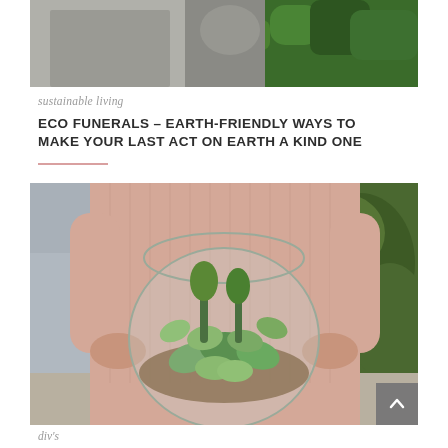[Figure (photo): Top portion of a photo showing a person in a grey coat with green foliage background, cropped]
sustainable living
ECO FUNERALS - EARTH-FRIENDLY WAYS TO MAKE YOUR LAST ACT ON EARTH A KIND ONE
[Figure (photo): Woman in a pink ribbed sweater holding a large round glass terrarium filled with succulents and green plants, with leafy green background]
div's